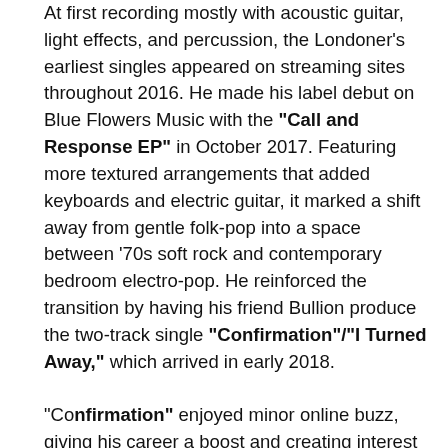At first recording mostly with acoustic guitar, light effects, and percussion, the Londoner's earliest singles appeared on streaming sites throughout 2016. He made his label debut on Blue Flowers Music with the "Call and Response EP" in October 2017. Featuring more textured arrangements that added keyboards and electric guitar, it marked a shift away from gentle folk-pop into a space between '70s soft rock and contemporary bedroom electro-pop. He reinforced the transition by having his friend Bullion produce the two-track single "Confirmation"/"I Turned Away," which arrived in early 2018.

"Confirmation" enjoyed minor online buzz, giving his career a boost and creating interest in the remainder of his output for that year: two singles and a four-track EP, Ark. He played his first U.S. dates in late 2018 and — aside from an August guest appearance on Amen Dunes' track "L.A." — spent the bulk of 2019 either touring or recording. Bullion assisted with sessions for his debut album, and these took place in both southern